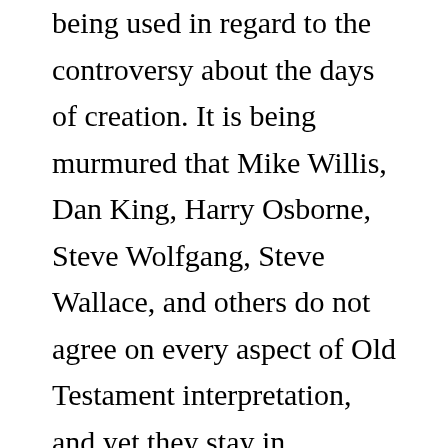being used in regard to the controversy about the days of creation. It is being murmured that Mike Willis, Dan King, Harry Osborne, Steve Wolfgang, Steve Wallace, and others do not agree on every aspect of Old Testament interpretation, and yet they stay in fellowhip with each other.

If brethren are able to prove that several of these men are inconsistent, does that prove that brethren can have an on-going and never-ending fellowship with those who teach false